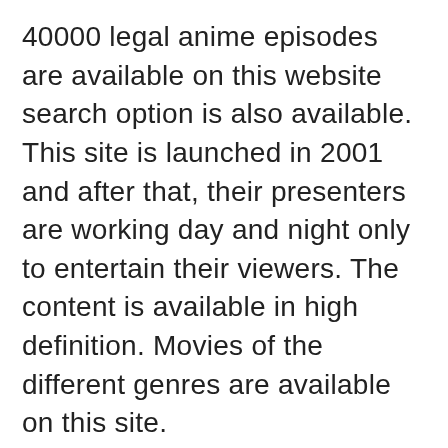40000 legal anime episodes are available on this website search option is also available. This site is launched in 2001 and after that, their presenters are working day and night only to entertain their viewers. The content is available in high definition. Movies of the different genres are available on this site.
GoGoAnime
GoGoAnime is the top streaming website for watching online anime series and anime movies. This site is safe to use. A list of popular ongoing series is also shown on this